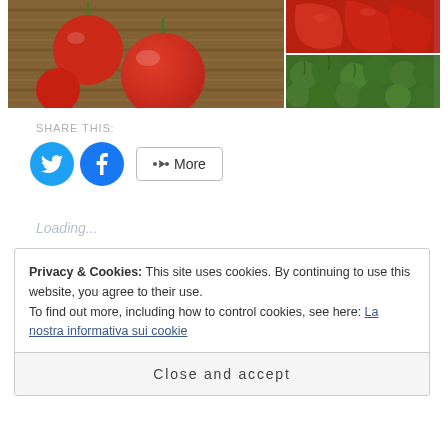[Figure (photo): Collage of food photos: large image of red tomatoes on wicker basket on left, small image of red peppers on top right, small image of green mini watermelons on bottom right]
SHARE THIS:
[Figure (infographic): Social share buttons: Twitter (blue circle with bird icon), Facebook (blue circle with f icon), and More button with share icon]
Loading...
Privacy & Cookies: This site uses cookies. By continuing to use this website, you agree to their use.
To find out more, including how to control cookies, see here: La nostra informativa sui cookie
Close and accept